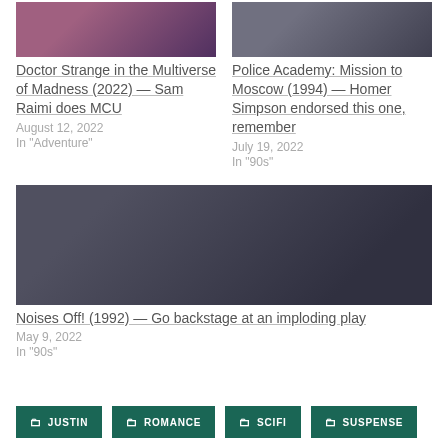[Figure (photo): Still from Doctor Strange in the Multiverse of Madness – purple/dark toned movie image]
Doctor Strange in the Multiverse of Madness (2022) — Sam Raimi does MCU
August 12, 2022
In "Adventure"
[Figure (photo): Still from Police Academy: Mission to Moscow – dark toned movie image]
Police Academy: Mission to Moscow (1994) — Homer Simpson endorsed this one, remember
July 19, 2022
In "90s"
[Figure (photo): Still from Noises Off! (1992) – three actors backstage in dark interior]
Noises Off! (1992) — Go backstage at an imploding play
May 9, 2022
In "90s"
JUSTIN
ROMANCE
SCIFI
SUSPENSE